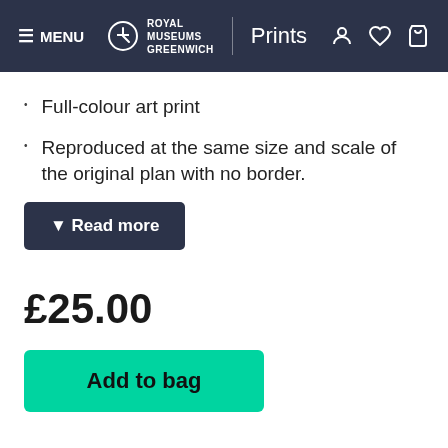MENU | Royal Museums Greenwich | Prints
Full-colour art print
Reproduced at the same size and scale of the original plan with no border.
▼ Read more
£25.00
Add to bag
© National Maritime Museum
Image reference: JO077
❤ Add to wishlist    🐦 Share on Twitter